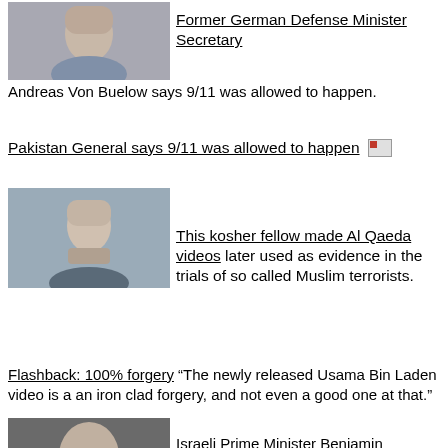[Figure (photo): Photo of an older man, Former German Defense Minister Secretary]
Former German Defense Minister Secretary Andreas Von Buelow says 9/11 was allowed to happen.
Pakistan General says 9/11 was allowed to happen
[Figure (photo): Photo of a bearded man in a suit]
This kosher fellow made Al Qaeda videos later used as evidence in the trials of so called Muslim terrorists.
Flashback: 100% forgery “The newly released Usama Bin Laden video is a an iron clad forgery, and not even a good one at that.”
[Figure (photo): Photo of Israeli Prime Minister Benjamin Netanyahu]
Israeli Prime Minister Benjamin Netanyahu